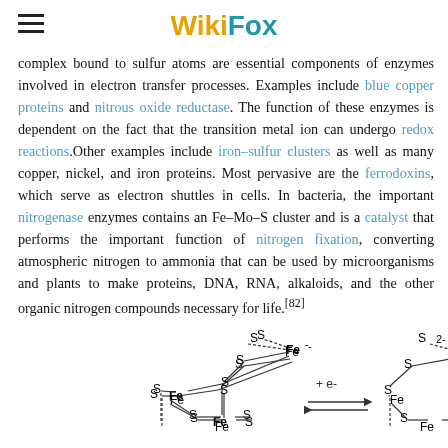WikiFox
complex bound to sulfur atoms are essential components of enzymes involved in electron transfer processes. Examples include blue copper proteins and nitrous oxide reductase. The function of these enzymes is dependent on the fact that the transition metal ion can undergo redox reactions.Other examples include iron–sulfur clusters as well as many copper, nickel, and iron proteins. Most pervasive are the ferrodoxins, which serve as electron shuttles in cells. In bacteria, the important nitrogenase enzymes contains an Fe–Mo–S cluster and is a catalyst that performs the important function of nitrogen fixation, converting atmospheric nitrogen to ammonia that can be used by microorganisms and plants to make proteins, DNA, RNA, alkaloids, and the other organic nitrogen compounds necessary for life.[82]
[Figure (engineering-diagram): Two iron-sulfur cluster chemical structure diagrams showing redox reaction with electron transfer (+ e-) and equilibrium arrows between the two states, with charge states indicated (- and 2-)]